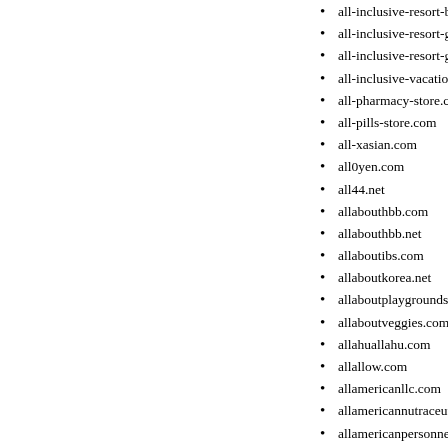all-inclusive-resort-book.com
all-inclusive-resort-guide-bo...
all-inclusive-resort-guideboo...
all-inclusive-vacation-guide-...
all-pharmacy-store.com
all-pills-store.com
all-xasian.com
all0yen.com
all44.net
allabouthbb.com
allabouthbb.net
allaboutibs.com
allaboutkorea.net
allaboutplaygrounds.com
allaboutveggies.com
allahuallahu.com
allallow.com
allamericanllc.com
allamericannutraceuticals.co...
allamericanpersonnel.com
allan-donald.com
allanholland.com
allantiaging.com
allaroundcuisine.com
allasiabiz.com
allbauserviece.com
allbestjobs.com
allboutfun.com